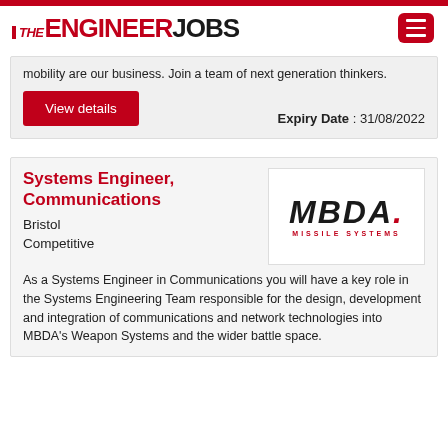THE ENGINEER JOBS
mobility are our business. Join a team of next generation thinkers.
Expiry Date : 31/08/2022
View details
Systems Engineer, Communications
[Figure (logo): MBDA Missile Systems logo]
Bristol
Competitive
As a Systems Engineer in Communications you will have a key role in the Systems Engineering Team responsible for the design, development and integration of communications and network technologies into MBDA's Weapon Systems and the wider battle space.